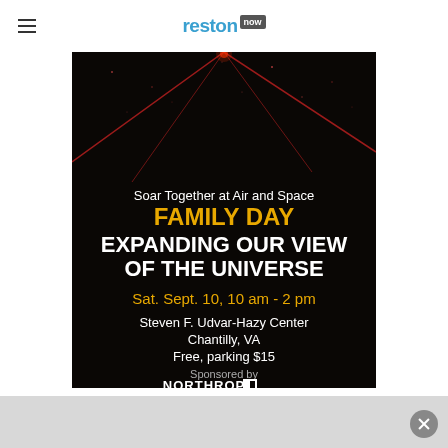reston now
[Figure (infographic): Advertisement for Family Day at Air and Space Museum. Dark background with red laser beams. Text: 'Soar Together at Air and Space', 'FAMILY DAY', 'EXPANDING OUR VIEW OF THE UNIVERSE', 'Sat. Sept. 10, 10 am - 2 pm', 'Steven F. Udvar-Hazy Center', 'Chantilly, VA', 'Free, parking $15', 'Sponsored by Northrop Grumman']